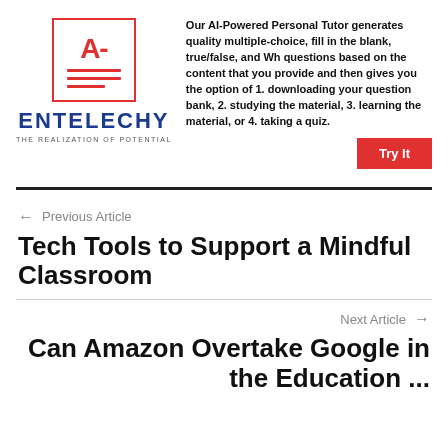[Figure (logo): Entelechy logo with A- grade icon in red box, bold blue ENTELECHY text, tagline THE REALIZATION OF POTENTIAL]
Our AI-Powered Personal Tutor generates quality multiple-choice, fill in the blank, true/false, and Wh questions based on the content that you provide and then gives you the option of 1. downloading your question bank, 2. studying the material, 3. learning the material, or 4. taking a quiz.
Try It
← Previous Article
Tech Tools to Support a Mindful Classroom
Next Article →
Can Amazon Overtake Google in the Education ...